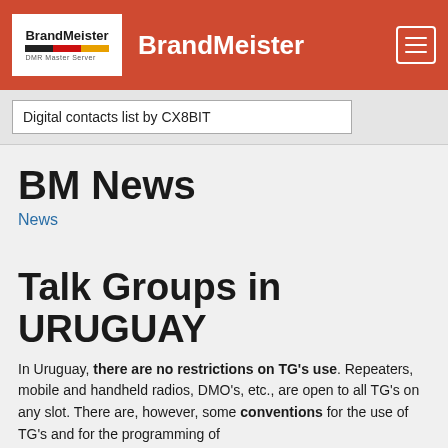BrandMeister - BrandMeister
Digital contacts list by CX8BIT
BM News
News
Talk Groups in URUGUAY
In Uruguay, there are no restrictions on TG's use. Repeaters, mobile and handheld radios, DMO's, etc., are open to all TG's on any slot. There are, however, some conventions for the use of TG's and for the programming of